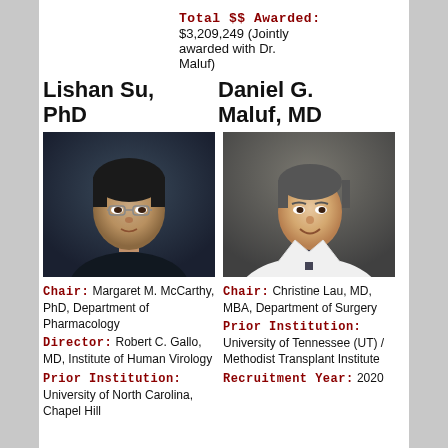Total $$ Awarded: $3,209,249 (Jointly awarded with Dr. Maluf)
Lishan Su, PhD
Daniel G. Maluf, MD
[Figure (photo): Headshot of Lishan Su, PhD - Asian man with glasses]
[Figure (photo): Headshot of Daniel G. Maluf, MD - man in white lab coat]
Chair: Margaret M. McCarthy, PhD, Department of Pharmacology
Director: Robert C. Gallo, MD, Institute of Human Virology
Prior Institution: University of North Carolina, Chapel Hill
Chair: Christine Lau, MD, MBA, Department of Surgery
Prior Institution: University of Tennessee (UT) / Methodist Transplant Institute
Recruitment Year: 2020